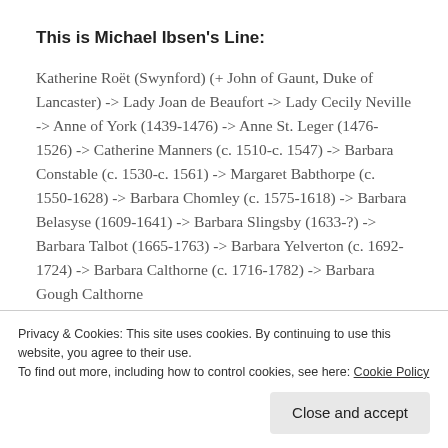This is Michael Ibsen's Line:
Katherine Roët (Swynford) (+ John of Gaunt, Duke of Lancaster) -> Lady Joan de Beaufort -> Lady Cecily Neville -> Anne of York (1439-1476) -> Anne St. Leger (1476-1526) -> Catherine Manners (c. 1510-c. 1547) -> Barbara Constable (c. 1530-c. 1561) -> Margaret Babthorpe (c. 1550-1628) -> Barbara Chomley (c. 1575-1618) -> Barbara Belasyse (1609-1641) -> Barbara Slingsby (1633-?) -> Barbara Talbot (1665-1763) -> Barbara Yelverton (c. 1692-1724) -> Barbara Calthorne (c. 1716-1782) -> Barbara Gough Calthorne
Privacy & Cookies: This site uses cookies. By continuing to use this website, you agree to their use.
To find out more, including how to control cookies, see here: Cookie Policy